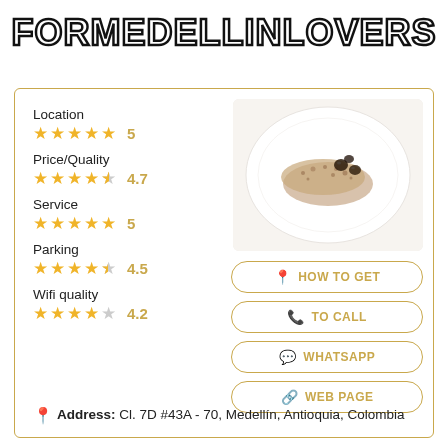FORMEDELLINLOVERS
Location ★★★★★ 5
Price/Quality ★★★★½ 4.7
Service ★★★★★ 5
Parking ★★★★½ 4.5
Wifi quality ★★★★☆ 4.2
[Figure (photo): A gourmet dish on a white plate with grains, sauce, and dark berries/olives]
HOW TO GET
TO CALL
WHATSAPP
WEB PAGE
Address: Cl. 7D #43A - 70, Medellín, Antioquia, Colombia